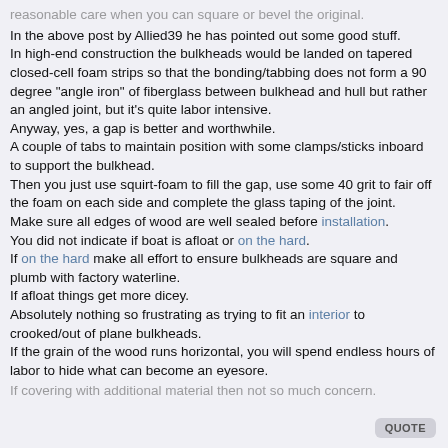reasonable care when you can square or bevel the original. In the above post by Allied39 he has pointed out some good stuff. In high-end construction the bulkheads would be landed on tapered closed-cell foam strips so that the bonding/tabbing does not form a 90 degree "angle iron" of fiberglass between bulkhead and hull but rather an angled joint, but it's quite labor intensive. Anyway, yes, a gap is better and worthwhile. A couple of tabs to maintain position with some clamps/sticks inboard to support the bulkhead. Then you just use squirt-foam to fill the gap, use some 40 grit to fair off the foam on each side and complete the glass taping of the joint. Make sure all edges of wood are well sealed before installation. You did not indicate if boat is afloat or on the hard. If on the hard make all effort to ensure bulkheads are square and plumb with factory waterline. If afloat things get more dicey. Absolutely nothing so frustrating as trying to fit an interior to crooked/out of plane bulkheads. If the grain of the wood runs horizontal, you will spend endless hours of labor to hide what can become an eyesore. If covering with additional material then not so much concern.